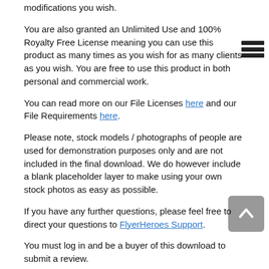modifications you wish.
You are also granted an Unlimited Use and 100% Royalty Free License meaning you can use this product as many times as you wish for as many clients as you wish. You are free to use this product in both personal and commercial work.
You can read more on our File Licenses here and our File Requirements here.
Please note, stock models / photographs of people are used for demonstration purposes only and are not included in the final download. We do however include a blank placeholder layer to make using your own stock photos as easy as possible.
If you have any further questions, please feel free to direct your questions to FlyerHeroes Support.
You must log in and be a buyer of this download to submit a review.